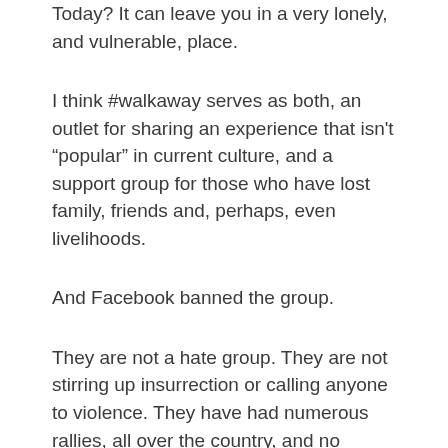Today? It can leave you in a very lonely, and vulnerable, place.
I think #walkaway serves as both, an outlet for sharing an experience that isn't “popular” in current culture, and a support group for those who have lost family, friends and, perhaps, even livelihoods.
And Facebook banned the group.
They are not a hate group. They are not stirring up insurrection or calling anyone to violence. They have had numerous rallies, all over the country, and no rioting or violence has ever followed.
Facebook has a right to take down pages when those pages go against their policies. But, why